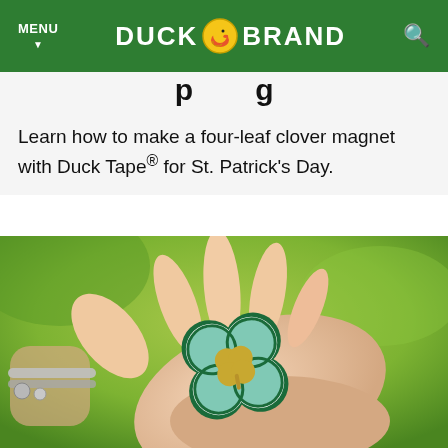MENU | DUCK BRAND | [search icon]
…p…g…
Learn how to make a four-leaf clover magnet with Duck Tape® for St. Patrick's Day.
[Figure (photo): A hand with a silver charm bracelet holding a four-leaf clover magnet made of Duck Tape — dark green outline, mint green leaves, and a gold center clover shape — against a blurred green background.]